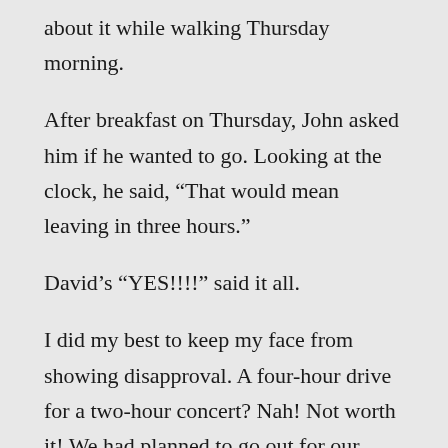about it while walking Thursday morning.
After breakfast on Thursday, John asked him if he wanted to go. Looking at the clock, he said, “That would mean leaving in three hours.”
David’s “YES!!!!” said it all.
I did my best to keep my face from showing disapproval. A four-hour drive for a two-hour concert? Nah! Not worth it! We had planned to go out for our main meal, so I had to quickly devise a menu and begin cooking. They ate and left.
Replaying the words in my head, I remembered the extreme excitement in David’s voice. When John outlined the trip, I knew John had caught David’s